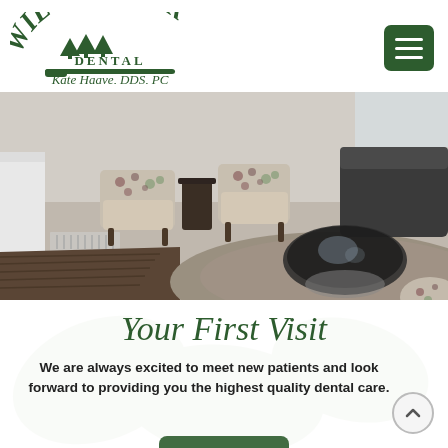[Figure (logo): Wilson Park Dental logo with trees and toothbrush graphic, text reads 'Wilson Park Dental, Kate Haave, DDS, PC']
[Figure (photo): Dental office waiting room with patterned chairs, dark leather sofa, round glass coffee table, carpet and dark hardwood floor]
Your First Visit
We are always excited to meet new patients and look forward to providing you the highest quality dental care.